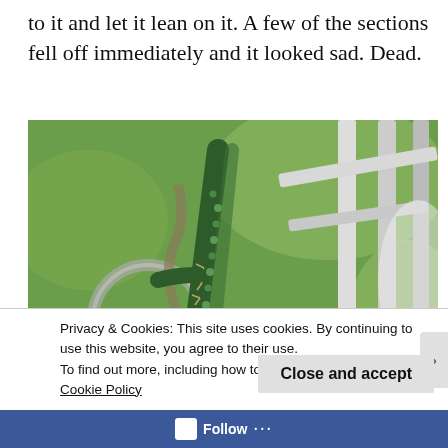to it and let it lean on it. A few of the sections fell off immediately and it looked sad. Dead.
[Figure (photo): Close-up photo of a cactus plant with small buds and a pink flower, leaning against a white metal fence or garden structure, with green grass blurred in the background.]
Privacy & Cookies: This site uses cookies. By continuing to use this website, you agree to their use.
To find out more, including how to control cookies, see here: Cookie Policy
Close and accept
Follow